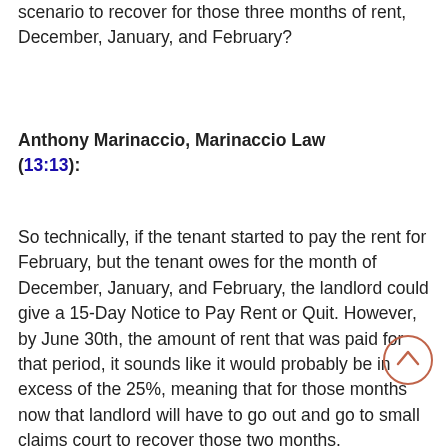scenario to recover for those three months of rent, December, January, and February?
Anthony Marinaccio, Marinaccio Law (13:13):
So technically, if the tenant started to pay the rent for February, but the tenant owes for the month of December, January, and February, the landlord could give a 15-Day Notice to Pay Rent or Quit. However, by June 30th, the amount of rent that was paid for that period, it sounds like it would probably be in excess of the 25%, meaning that for those months now that landlord will have to go out and go to small claims court to recover those two months.